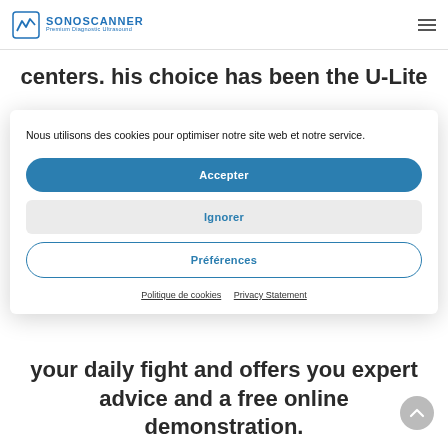SONOSCANNER Premium Diagnostic Ultrasound
centers. his choice has been the U-Lite
Nous utilisons des cookies pour optimiser notre site web et notre service.
Accepter
Ignorer
Préférences
Politique de cookies   Privacy Statement
your daily fight and offers you expert advice and a free online demonstration.